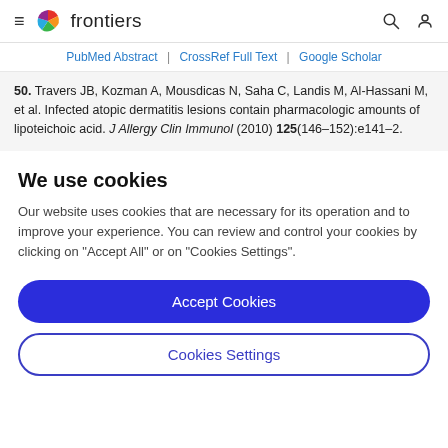frontiers
PubMed Abstract | CrossRef Full Text | Google Scholar
50. Travers JB, Kozman A, Mousdicas N, Saha C, Landis M, Al-Hassani M, et al. Infected atopic dermatitis lesions contain pharmacologic amounts of lipoteichoic acid. J Allergy Clin Immunol (2010) 125(146–152):e141–2.
We use cookies
Our website uses cookies that are necessary for its operation and to improve your experience. You can review and control your cookies by clicking on "Accept All" or on "Cookies Settings".
Accept Cookies
Cookies Settings